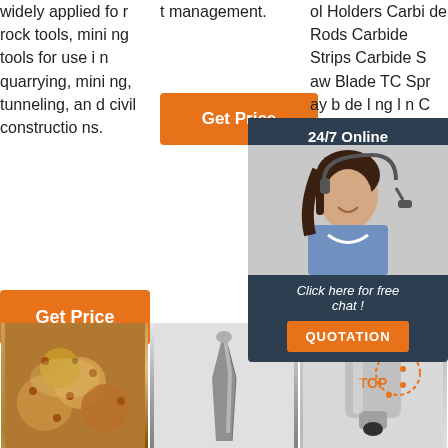widely applied for rock tools, mining tools for use in quarrying, mining, tunneling, and civil constructions.
t management.
ol Holders Carbide Rods Carbide Strips Carbide Saw Blade TC Spray blade boring n C
Get Price
Get Price
G
24/7 Online
Click here for free chat !
QUOTATION
[Figure (photo): Gold/bronze colored drill bits with multiple cutting inserts arranged in a cluster]
[Figure (photo): Gray metallic chisel or pick point tool, single piece]
[Figure (photo): Metallic cylindrical tool with TOP logo/branding in orange]